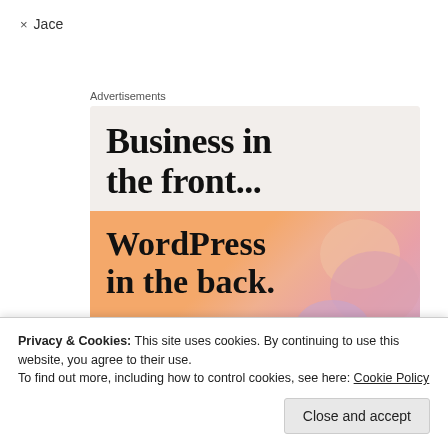× Jace
Advertisements
[Figure (illustration): Advertisement image with two sections: top section on light beige background with large bold serif text 'Business in the front...'; bottom section with warm orange-to-pink gradient background with large bold serif text 'WordPress in the back.']
Privacy & Cookies: This site uses cookies. By continuing to use this website, you agree to their use.
To find out more, including how to control cookies, see here: Cookie Policy
Close and accept